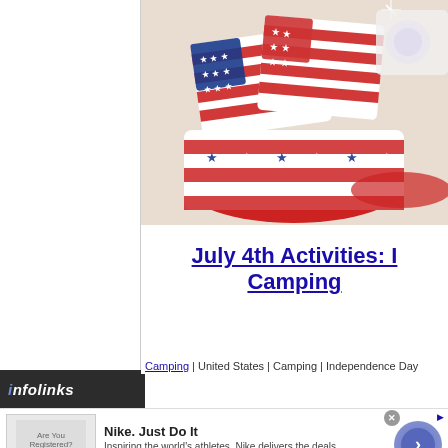[Figure (photo): Patriotic American flag-decorated sugar cookies in a red and white striped bowl, with stars and stripes icing in red, white, and blue. Additional decorated cookies visible in background on a red plate.]
July 4th Activities: Camping
Camping | United States | Camping | Independence Day
[Figure (screenshot): Nike advertisement banner: 'Nike. Just Do It' with tagline 'Inspiring the world's athletes, Nike delivers the deals' and URL www.nike.com, with a blue circular arrow button and close button.]